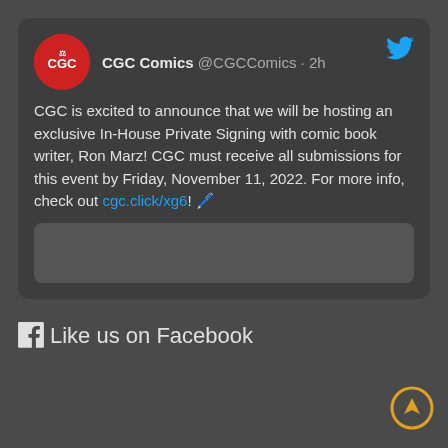[Figure (screenshot): Tweet from CGC Comics (@CGCComics) posted 2h ago with Twitter bird icon. Contains CGC red circular logo, account name and handle, tweet text about In-House Private Signing with Ron Marz, link cgc.click/xg6, and an image placeholder.]
Like us on Facebook